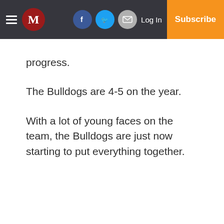M | Log In | Subscribe
progress.
The Bulldogs are 4-5 on the year.
With a lot of young faces on the team, the Bulldogs are just now starting to put everything together.